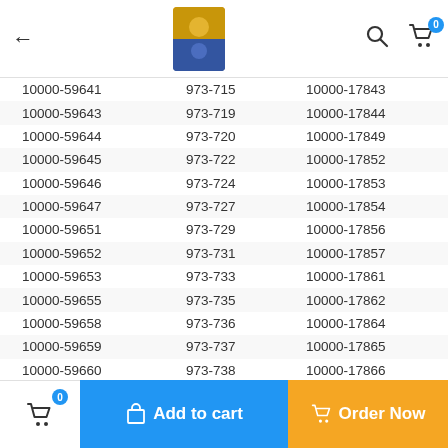| Col1 | Col2 | Col3 |
| --- | --- | --- |
| 10000-59641 | 973-715 | 10000-17843 |
| 10000-59643 | 973-719 | 10000-17844 |
| 10000-59644 | 973-720 | 10000-17849 |
| 10000-59645 | 973-722 | 10000-17852 |
| 10000-59646 | 973-724 | 10000-17853 |
| 10000-59647 | 973-727 | 10000-17854 |
| 10000-59651 | 973-729 | 10000-17856 |
| 10000-59652 | 973-731 | 10000-17857 |
| 10000-59653 | 973-733 | 10000-17861 |
| 10000-59655 | 973-735 | 10000-17862 |
| 10000-59658 | 973-736 | 10000-17864 |
| 10000-59659 | 973-737 | 10000-17865 |
| 10000-59660 | 973-738 | 10000-17866 |
| 10000-59662 | 973-739 | 10000-17867 |
| 10000-59664 | 973-740 | 10000-17868 |
| 10000-59680 | 973-741 | 10000-17869 |
| 10000-59684 | 973-742 | 10000-17871 |
| 10000-59689 | 973-743 | 10000-17873 |